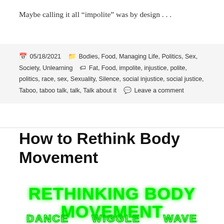Maybe calling it all “impolite” was by design . . .
05/18/2021   Bodies, Food, Managing Life, Politics, Sex, Society, Unlearning   Fat, Food, impolite, injustice, polite, politics, race, sex, Sexuality, Silence, social injustice, social justice, Taboo, taboo talk, talk, Talk about it   Leave a comment
How to Rethink Body Movement
[Figure (illustration): Green glowing text on white background reading RETHINKING BODY MOVEMENT in large bold letters, with DANCE, WIGGLE, WAVE partially visible at the bottom in outlined green text]